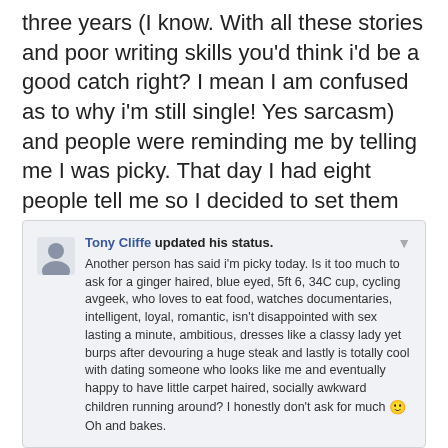three years (I know. With all these stories and poor writing skills you'd think i'd be a good catch right? I mean I am confused as to why i'm still single! Yes sarcasm) and people were reminding me by telling me I was picky. That day I had eight people tell me so I decided to set them straight. I mean seeeeriously you guys i'm not asking for much here 😉
Tony Cliffe updated his status. Another person has said i'm picky today. Is it too much to ask for a ginger haired, blue eyed, 5ft 6, 34C cup, cycling avgeek, who loves to eat food, watches documentaries, intelligent, loyal, romantic, isn't disappointed with sex lasting a minute, ambitious, dresses like a classy lady yet burps after devouring a huge steak and lastly is totally cool with dating someone who looks like me and eventually happy to have little carpet haired, socially awkward children running around? I honestly don't ask for much 🙂 Oh and bakes.